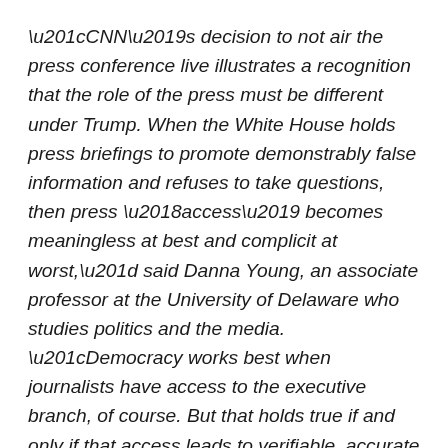“CNN’s decision to not air the press conference live illustrates a recognition that the role of the press must be different under Trump. When the White House holds press briefings to promote demonstrably false information and refuses to take questions, then press ‘access’ becomes meaningless at best and complicit at worst,” said Danna Young, an associate professor at the University of Delaware who studies politics and the media. “Democracy works best when journalists have access to the executive branch, of course. But that holds true if and only if that access leads to verifiable, accurate information. The decision on behalf of CNN to wait and verify before airing it live suggests that the media are adapting quickly to this new era.”